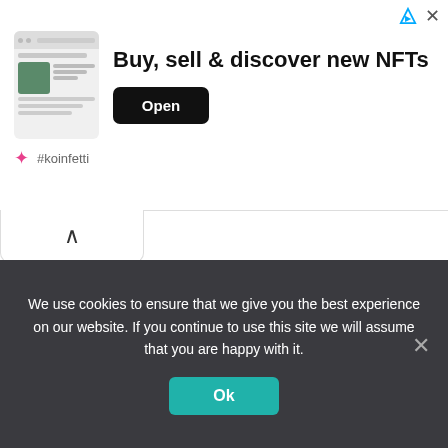[Figure (screenshot): App store advertisement banner for an NFT marketplace app showing 'Buy, sell & discover new NFTs' with an Open button and #koinfetti branding]
[Figure (screenshot): Collapse/chevron-up button below the ad banner]
Source: https://www.basicthinking.de/blog/2022/05/10/nfts-bei-instagram-testphase/
We use cookies to ensure that we give you the best experience on our website. If you continue to use this site we will assume that you are happy with it.